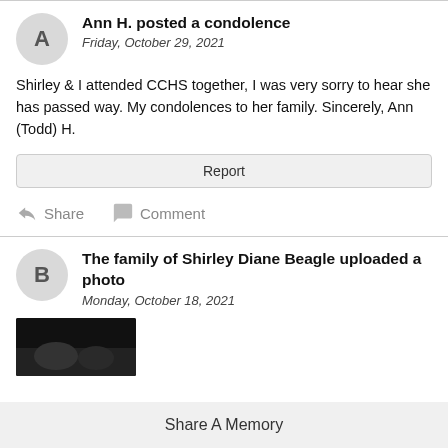Ann H. posted a condolence
Friday, October 29, 2021
Shirley & I attended CCHS together, I was very sorry to hear she has passed way. My condolences to her family. Sincerely, Ann (Todd) H.
Report
Share   Comment
The family of Shirley Diane Beagle uploaded a photo
Monday, October 18, 2021
[Figure (photo): Dark thumbnail photo uploaded by the family of Shirley Diane Beagle]
Share A Memory